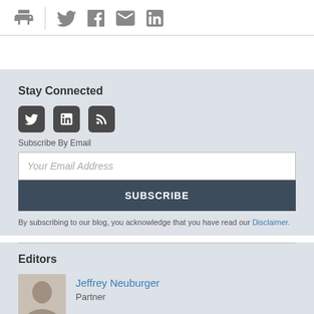[Figure (infographic): Share/social icons row: print, Twitter, Facebook, email, LinkedIn icons in gray]
Stay Connected
[Figure (infographic): Social media icons: Twitter, LinkedIn, RSS feed in dark rounded square boxes]
Subscribe By Email
Your Email Address
SUBSCRIBE
By subscribing to our blog, you acknowledge that you have read our Disclaimer.
Editors
[Figure (photo): Headshot photo of Jeffrey Neuburger]
Jeffrey Neuburger
Partner